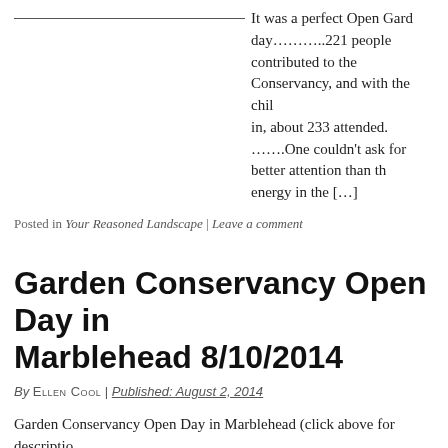It was a perfect Open Gard day………..221 people contributed to the Conservancy, and with the chil in, about 233 attended. …….One couldn't ask for better attention than th energy in the […]
Posted in Your Reasoned Landscape | Leave a comment
Garden Conservancy Open Day in Marblehead 8/10/2014
By ELLEN COOL | Published: AUGUST 2, 2014
Garden Conservancy Open Day in Marblehead (click above for descriptio directions to the gardens) Sunday, August 10 | 10 a.m. to 4 p.m. Visit fou Marblehead, MA. in any order you like. Admission is $5 for each garden shared with the Marblehead Conservancy and Symphony by the Sea Rich
Posted in Garden Making Guidance, Landscape Making Guidance, Your Reasoned L a comment